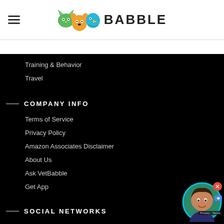VetBabble
Training & Behavior
Travel
COMPANY INFO
Terms of Service
Privacy Policy
Amazon Associates Disclaimer
About Us
Ask VetBabble
Get App
SOCIAL NETWORKS
Facebook  Instagram  Pinterest
[Figure (photo): Chat widget showing a woman's photo in a circular frame with a close button]